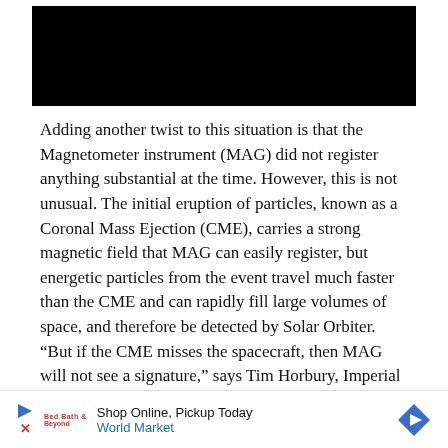[Figure (photo): Black rectangle image area at the top of the page]
Adding another twist to this situation is that the Magnetometer instrument (MAG) did not register anything substantial at the time. However, this is not unusual. The initial eruption of particles, known as a Coronal Mass Ejection (CME), carries a strong magnetic field that MAG can easily register, but energetic particles from the event travel much faster than the CME and can rapidly fill large volumes of space, and therefore be detected by Solar Orbiter. “But if the CME misses the spacecraft, then MAG will not see a signature,” says Tim Horbury, Imperial College, UK, and MAG PI.
[Figure (other): Advertisement banner: Shop Online, Pickup Today - World Market]